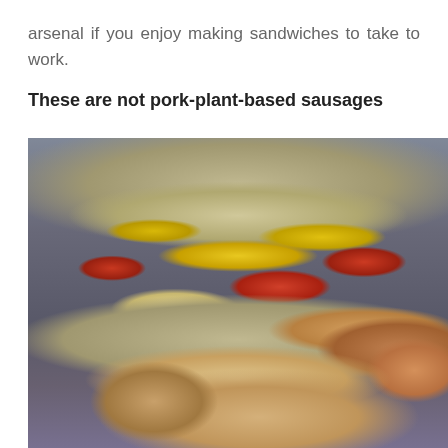arsenal if you enjoy making sandwiches to take to work.
These are not pork-plant-based sausages
[Figure (photo): Close-up photo of a hot dog in a bun topped with chopped onions, relish, ketchup, and yellow mustard, served in a gray bowl.]